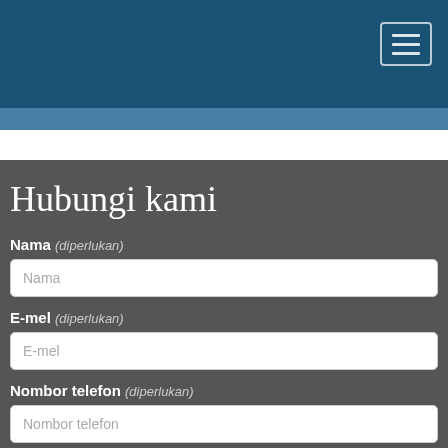[Figure (screenshot): Dark blue navigation header bar with hamburger menu button in top right corner]
Hubungi kami
Nama (diperlukan)
E-mel (diperlukan)
Nombor telefon (diperlukan)